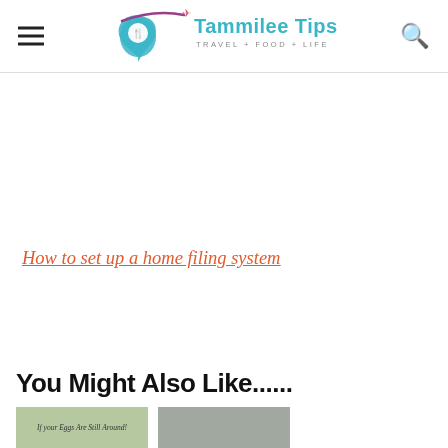Tammilee Tips — TRAVEL + FOOD + LIFE
How to set up a home filing system
You Might Also Like......
[Figure (photo): Two thumbnail images at the bottom of the page showing related article previews]
[Figure (logo): Tammilee Tips logo with travel/food/life tagline and airplane icon]